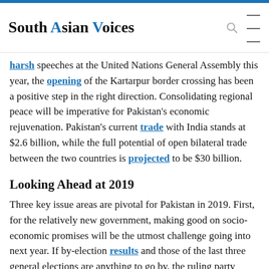South Asian Voices
harsh speeches at the United Nations General Assembly this year, the opening of the Kartarpur border crossing has been a positive step in the right direction. Consolidating regional peace will be imperative for Pakistan's economic rejuvenation. Pakistan's current trade with India stands at $2.6 billion, while the full potential of open bilateral trade between the two countries is projected to be $30 billion.
Looking Ahead at 2019
Three key issue areas are pivotal for Pakistan in 2019. First, for the relatively new government, making good on socio-economic promises will be the utmost challenge going into next year. If by-election results and those of the last three general elections are anything to go by, the ruling party could suffer a dip in popularity if the dream of "Naya Pakistan" f...